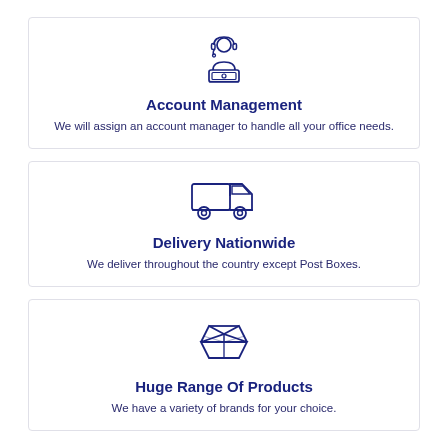[Figure (illustration): Line-art icon of a customer service representative at a desk with headset and laptop]
Account Management
We will assign an account manager to handle all your office needs.
[Figure (illustration): Line-art icon of a delivery truck]
Delivery Nationwide
We deliver throughout the country except Post Boxes.
[Figure (illustration): Line-art icon of an open box with items inside]
Huge Range Of Products
We have a variety of brands for your choice.